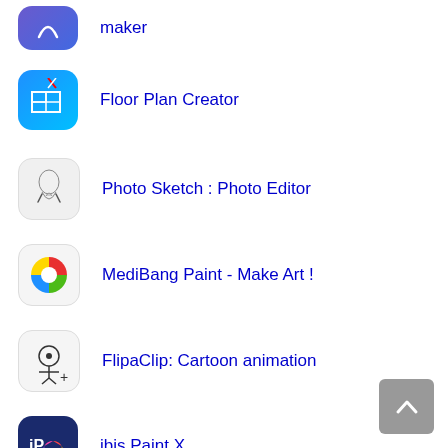maker
Floor Plan Creator
Photo Sketch : Photo Editor
MediBang Paint - Make Art !
FlipaClip: Cartoon animation
ibis Paint X